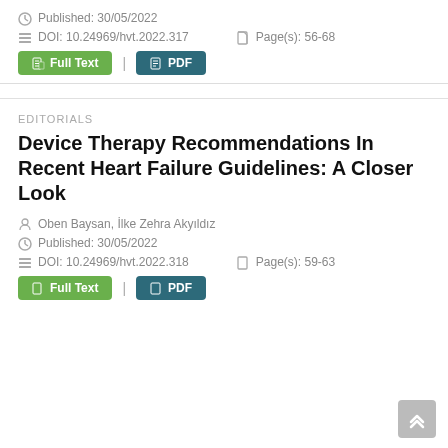Published: 30/05/2022
DOI: 10.24969/hvt.2022.317    Page(s): 56-68
Full Text | PDF
EDITORIALS
Device Therapy Recommendations In Recent Heart Failure Guidelines: A Closer Look
Oben Baysan, İlke Zehra Akyıldız
Published: 30/05/2022
DOI: 10.24969/hvt.2022.318    Page(s): 59-63
Full Text | PDF